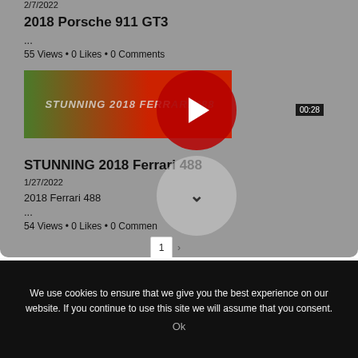2/7/2022
2018 Porsche 911 GT3
...
55 Views • 0 Likes • 0 Comments
[Figure (screenshot): Video thumbnail for STUNNING 2018 Ferrari 488 with red play button overlay and duration badge 00:28]
STUNNING 2018 Ferrari 488
1/27/2022
2018 Ferrari 488
...
54 Views • 0 Likes • 0 Comments
1
We use cookies to ensure that we give you the best experience on our website. If you continue to use this site we will assume that you consent.
Ok